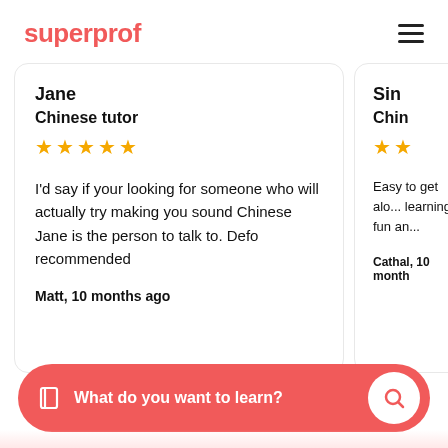superprof
Jane
Chinese tutor
★★★★★
I'd say if your looking for someone who will actually try making you sound Chinese Jane is the person to talk to. Defo recommended
Matt, 10 months ago
Sin
Chin...
★★
Easy to get alo... learning fun an...
Cathal, 10 month...
What do you want to learn?